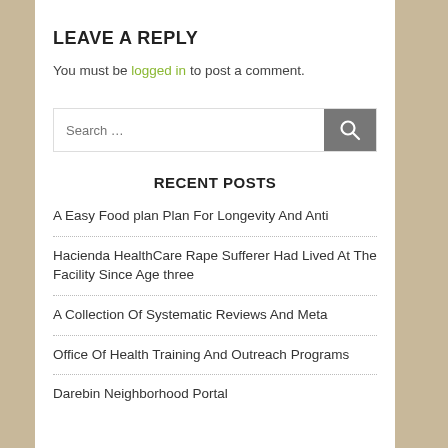LEAVE A REPLY
You must be logged in to post a comment.
Search ...
RECENT POSTS
A Easy Food plan Plan For Longevity And Anti
Hacienda HealthCare Rape Sufferer Had Lived At The Facility Since Age three
A Collection Of Systematic Reviews And Meta
Office Of Health Training And Outreach Programs
Darebin Neighborhood Portal